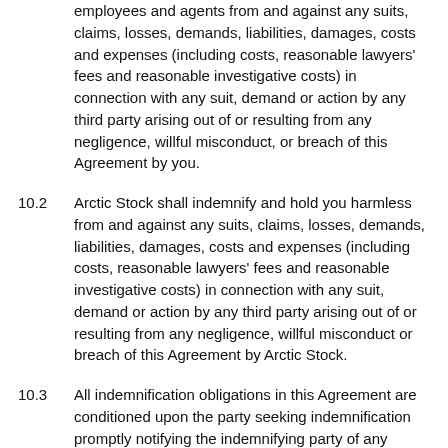employees and agents from and against any suits, claims, losses, demands, liabilities, damages, costs and expenses (including costs, reasonable lawyers' fees and reasonable investigative costs) in connection with any suit, demand or action by any third party arising out of or resulting from any negligence, willful misconduct, or breach of this Agreement by you.
10.2  Arctic Stock shall indemnify and hold you harmless from and against any suits, claims, losses, demands, liabilities, damages, costs and expenses (including costs, reasonable lawyers' fees and reasonable investigative costs) in connection with any suit, demand or action by any third party arising out of or resulting from any negligence, willful misconduct or breach of this Agreement by Arctic Stock.
10.3  All indemnification obligations in this Agreement are conditioned upon the party seeking indemnification promptly notifying the indemnifying party of any claim or liability of which